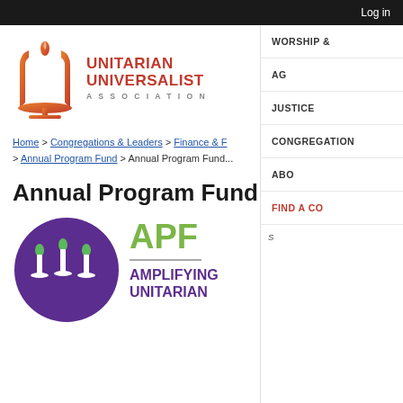Log in
[Figure (logo): Unitarian Universalist Association logo with flame chalice icon in orange/red gradient and red text]
WORSHIP &
AG
JUSTICE
CONGREGATION
ABO
FIND A CO
Home > Congregations & Leaders > Finance & F > Annual Program Fund > Annual Program Fund
Annual Program Fund Ba
[Figure (logo): APF - Amplifying Unitarian logo: purple circle with green flame chalice icons, and green APF text beside it]